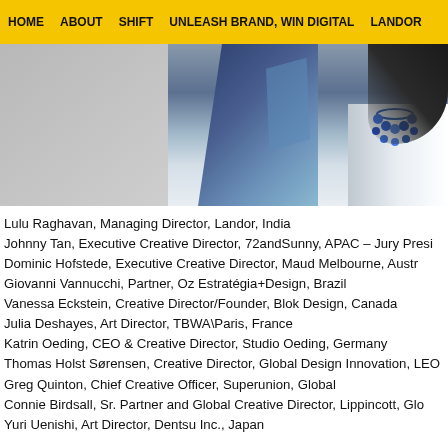HOME   ABOUT   SHIFT   UNLEASH BRAND, WIN DIGITAL   LANDOR
[Figure (photo): Portrait photo of a woman wearing a blue jacket and blue beaded necklace, with dark hair, against a light grey background.]
Lulu Raghavan, Managing Director, Landor, India
Johnny Tan, Executive Creative Director, 72andSunny, APAC – Jury Presi
Dominic Hofstede, Executive Creative Director, Maud Melbourne, Austr
Giovanni Vannucchi, Partner, Oz Estratégia+Design, Brazil
Vanessa Eckstein, Creative Director/Founder, Blok Design, Canada
Julia Deshayes, Art Director, TBWA\Paris, France
Katrin Oeding, CEO & Creative Director, Studio Oeding, Germany
Thomas Holst Sørensen, Creative Director, Global Design Innovation, LEO
Greg Quinton, Chief Creative Officer, Superunion, Global
Connie Birdsall, Sr. Partner and Global Creative Director, Lippincott, Glo
Yuri Uenishi, Art Director, Dentsu Inc., Japan